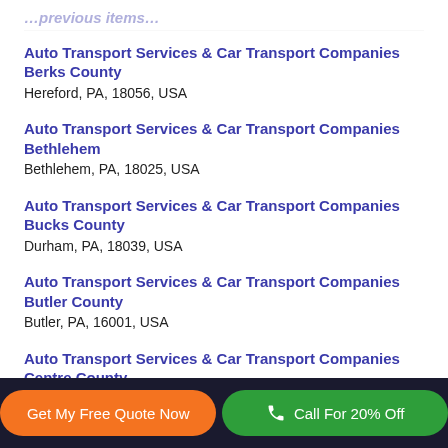Auto Transport Services & Car Transport Companies Berks County
Hereford, PA, 18056, USA
Auto Transport Services & Car Transport Companies Bethlehem
Bethlehem, PA, 18025, USA
Auto Transport Services & Car Transport Companies Bucks County
Durham, PA, 18039, USA
Auto Transport Services & Car Transport Companies Butler County
Butler, PA, 16001, USA
Auto Transport Services & Car Transport Companies Centre County
Get My Free Quote Now   Call For 20% Off